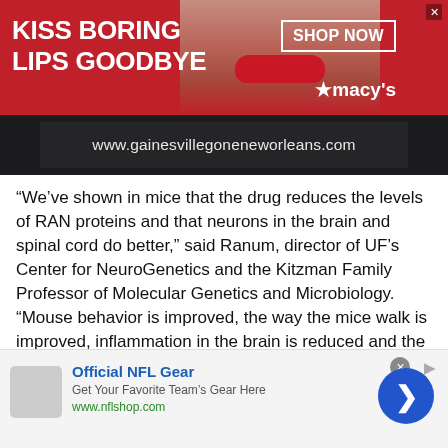[Figure (photo): Macy's advertisement banner with red background showing KISS BORING LIPS GOODBYE text, a model with red lips, SHOP NOW button, and Macy's logo]
[Figure (screenshot): Dark website banner showing www.gainesvillegoneneworleans.com]
“We’ve shown in mice that the drug reduces the levels of RAN proteins and that neurons in the brain and spinal cord do better,” said Ranum, director of UF’s Center for NeuroGenetics and the Kitzman Family Professor of Molecular Genetics and Microbiology. “Mouse behavior is improved, the way the mice walk is improved, inflammation in the brain is reduced and the survival of key motor neurons, which normally die in the disease, is increased with drug treatment.”
The next step to confirm the benefits shown in the animal model is a
[Figure (screenshot): Official NFL Gear advertisement with blue title, Get Your Favorite Team's Gear Here subtitle, www.nflshop.com URL, and a blue circular arrow button on the right]